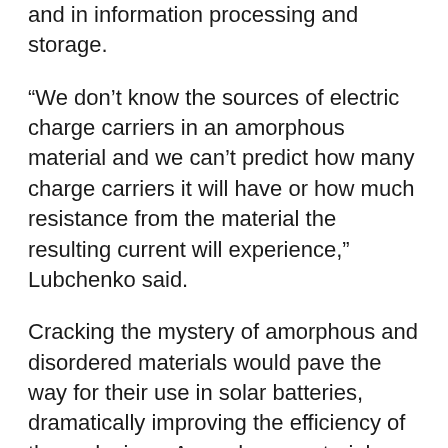and in information processing and storage.
“We don’t know the sources of electric charge carriers in an amorphous material and we can’t predict how many charge carriers it will have or how much resistance from the material the resulting current will experience,” Lubchenko said.
Cracking the mystery of amorphous and disordered materials would pave the way for their use in solar batteries, dramatically improving the efficiency of these devices. Amorphous materials, such as the chalcogenides used in rewritable CDs, also have potential to greatly expand the speed and capacity of computer memory.
The applications may be high-tech, but to solve the puzzle of electrical phenomena in amorphous